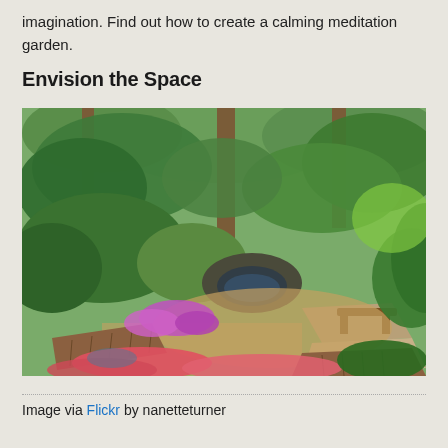imagination. Find out how to create a calming meditation garden.
Envision the Space
[Figure (photo): A lush meditation garden with wooden deck platforms, a small pond, pink and purple flowering plants, stone pathways, a wooden bench, surrounded by dense green trees and shrubs in dappled sunlight.]
Image via Flickr by nanetteturner